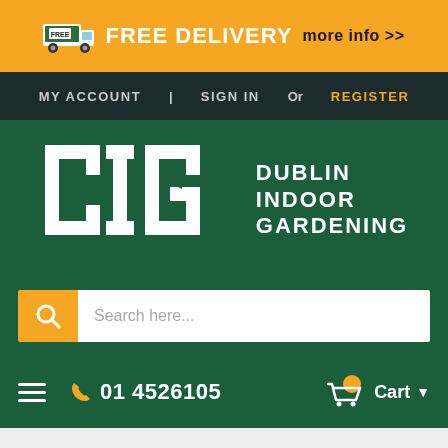[Figure (infographic): Orange banner with truck icon, FREE DELIVERY text and more info link]
MY ACCOUNT   SIGN IN OR REGISTER
[Figure (logo): Dublin Indoor Gardening DIG logo on dark green background]
[Figure (screenshot): Search bar with orange search button and placeholder text 'Search here...']
[Figure (infographic): Bottom navigation bar with hamburger menu, phone number 01 4526105, and cart icon]
Home » Amazon 16 50mm hole 50L